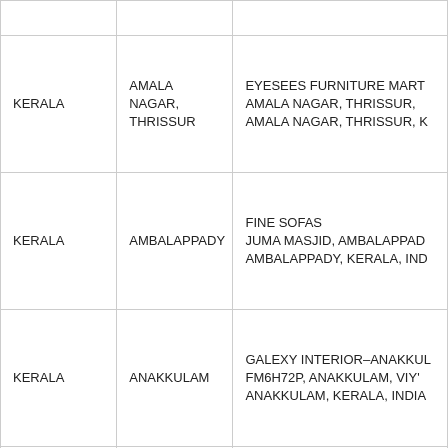|  |  |  |
| KERALA | AMALA NAGAR, THRISSUR | EYESEES FURNITURE MART AMALA NAGAR, THRISSUR, AMALA NAGAR, THRISSUR, K |
| KERALA | AMBALAPPADY | FINE SOFAS JUMA MASJID, AMBALAPPADY, AMBALAPPADY, KERALA, IND |
| KERALA | ANAKKULAM | GALEXY INTERIOR-ANAKKULAM FM6H72P, ANAKKULAM, VIY' ANAKKULAM, KERALA, INDIA |
|  |  |  |